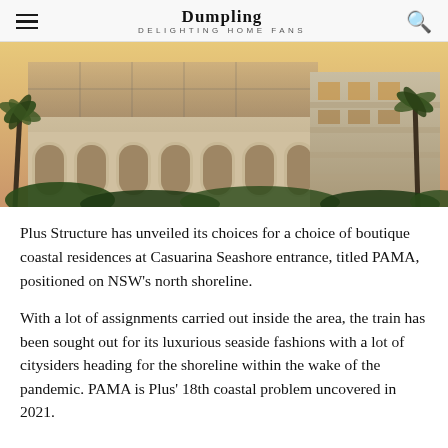Dumpling DELIGHTING HOME FANS
[Figure (photo): Exterior view of a modern coastal apartment building with white arched facade, glass balconies, and palm trees in warm evening light. The building shows two structures — one with arched colonnades and one with horizontal balconies.]
Plus Structure has unveiled its choices for a choice of boutique coastal residences at Casuarina Seashore entrance, titled PAMA, positioned on NSW's north shoreline.
With a lot of assignments carried out inside the area, the train has been sought out for its luxurious seaside fashions with a lot of citysiders heading for the shoreline within the wake of the pandemic. PAMA is Plus' 18th coastal problem uncovered in 2021.